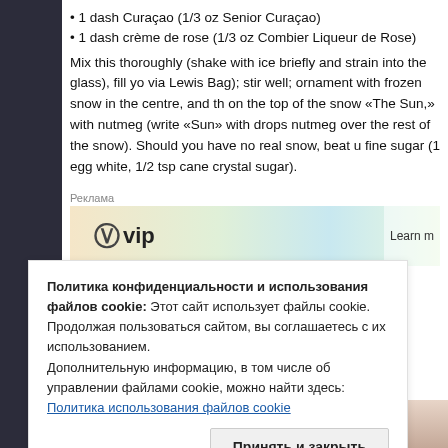• 1 dash Curaçao (1/3 oz Senior Curaçao)
• 1 dash crème de rose (1/3 oz Combier Liqueur de Rose)
Mix this thoroughly (shake with ice briefly and strain into the glass), fill yo via Lewis Bag); stir well; ornament with frozen snow in the centre, and th on the top of the snow «The Sun,» with nutmeg (write «Sun» with drops nutmeg over the rest of the snow). Should you have no real snow, beat u fine sugar (1 egg white, 1/2 tsp cane crystal sugar).
[Figure (screenshot): Advertisement banner with WordPress VIP logo and 'Learn m' text, labeled 'Реклама']
Капец сложно на снегу писать слово солнце. Посему вверх тормашк и покомоидума.
Политика конфиденциальности и использования файлов cookie: Этот сайт использует файлы cookie. Продолжая пользоваться сайтом, вы соглашаетесь с их использованием.
Дополнительную информацию, в том числе об управлении файлами cookie, можно найти здесь: Политика использования файлов cookie
Принять и закрыть